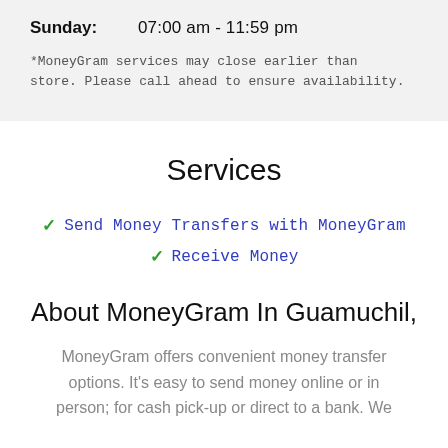Sunday: 07:00 am - 11:59 pm
*MoneyGram services may close earlier than store. Please call ahead to ensure availability.
Services
✓ Send Money Transfers with MoneyGram
✓ Receive Money
About MoneyGram In Guamuchil,
MoneyGram offers convenient money transfer options. It's easy to send money online or in person; for cash pick-up or direct to a bank. We